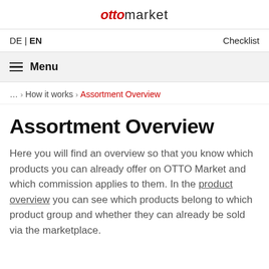OTTO market
DE | EN   Checklist
≡ Menu
… › How it works › Assortment Overview
Assortment Overview
Here you will find an overview so that you know which products you can already offer on OTTO Market and which commission applies to them. In the product overview you can see which products belong to which product group and whether they can already be sold via the marketplace.